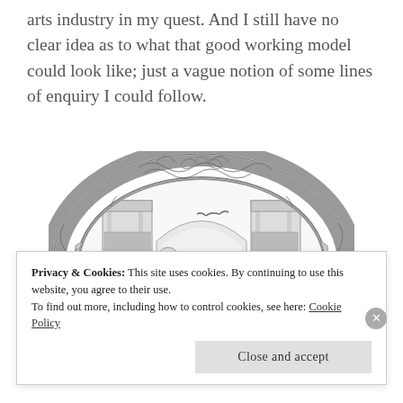arts industry in my quest. And I still have no clear idea as to what that good working model could look like; just a vague notion of some lines of enquiry I could follow.
[Figure (illustration): A circular ornate decorative frame containing a black-and-white engraving illustration. Inside the frame, two figures are shown in period clothing, one pointing, with architectural elements (arched doorways/columns) in the background and a bird flying above.]
Privacy & Cookies: This site uses cookies. By continuing to use this website, you agree to their use.
To find out more, including how to control cookies, see here: Cookie Policy